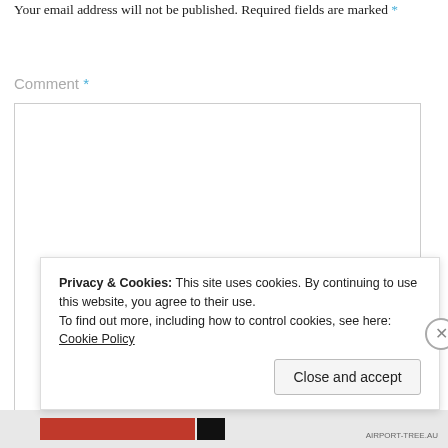Your email address will not be published. Required fields are marked *
Comment *
[Figure (screenshot): Empty comment text area input box with border]
Privacy & Cookies: This site uses cookies. By continuing to use this website, you agree to their use.
To find out more, including how to control cookies, see here: Cookie Policy
Close and accept
[Figure (screenshot): Bottom bar with red and black color blocks and small text reading AIRPORT-TREE.AU]